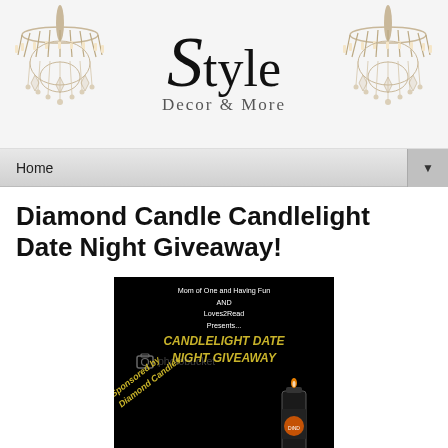[Figure (logo): Style Decor & More blog header with two crystal chandeliers on left and right and stylized Script+Text logo in center reading 'Style Decor & More']
Home ▼
Diamond Candle Candlelight Date Night Giveaway!
[Figure (photo): Black background promotional image for Candlelight Date Night Giveaway. Text reads: Mom of One and Having Fun AND Loves2Read Presents... CANDLELIGHT DATE NIGHT GIVEAWAY. Sponsored by Diamond Candles. Photobucket watermark. A candle product image on the right side.]